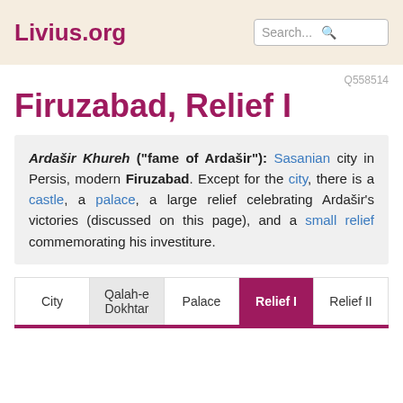Livius.org
Q558514
Firuzabad, Relief I
Ardašir Khureh ("fame of Ardašir"): Sasanian city in Persis, modern Firuzabad. Except for the city, there is a castle, a palace, a large relief celebrating Ardašir's victories (discussed on this page), and a small relief commemorating his investiture.
City
Qalah-e Dokhtar
Palace
Relief I
Relief II